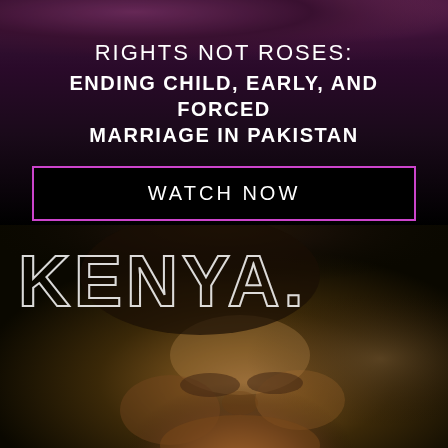[Figure (photo): Dark background with decorative fabric/textile pattern at top — Pakistan campaign backdrop]
RIGHTS NOT ROSES:
ENDING CHILD, EARLY, AND FORCED MARRIAGE IN PAKISTAN
WATCH NOW
[Figure (photo): Close-up portrait of a young African woman looking at the camera, with blurred warm-toned background — Kenya campaign image]
KENYA.